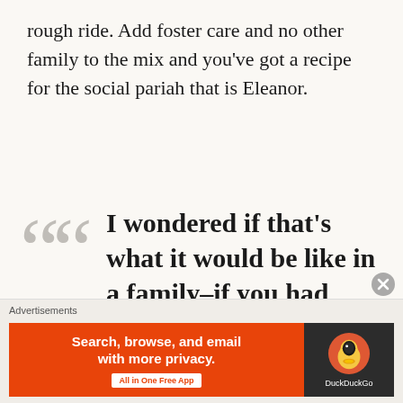rough ride. Add foster care and no other family to the mix and you've got a recipe for the social pariah that is Eleanor.
I wondered if that's what it would be like in a family–if you had parents, or a sister, say, who would be there...
Advertisements — Search, browse, and email with more privacy. All in One Free App — DuckDuckGo